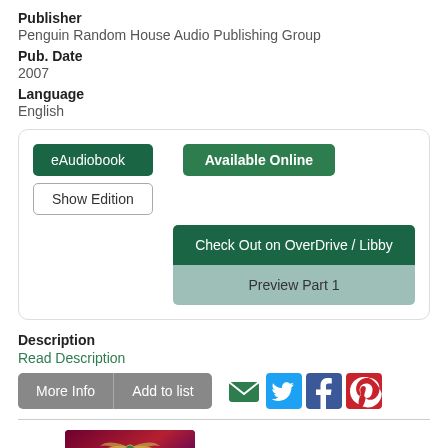Publisher
Penguin Random House Audio Publishing Group
Pub. Date
2007
Language
English
eAudiobook | Available Online | Show Edition | Check Out on OverDrive / Libby | Preview Part 1
Description
Read Description
More Info | Add to list
[Figure (screenshot): Book cover for The Throne of Fire with dark purple/red background and golden winged emblem at top]
[Figure (other): Grey circular scroll-to-top button with upward arrow]